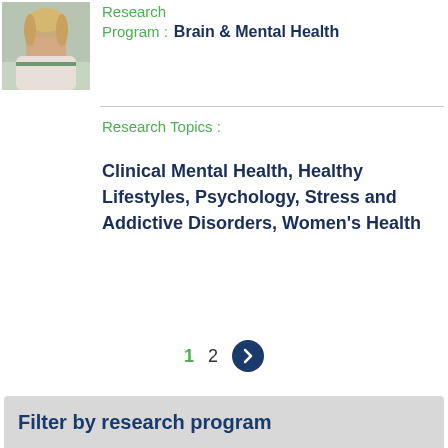[Figure (photo): Headshot photo of a blonde woman in a white blazer outdoors]
Research Program : Brain & Mental Health
Research Topics :
Clinical Mental Health, Healthy Lifestyles, Psychology, Stress and Addictive Disorders, Women's Health
1  2  ›
Filter by research program